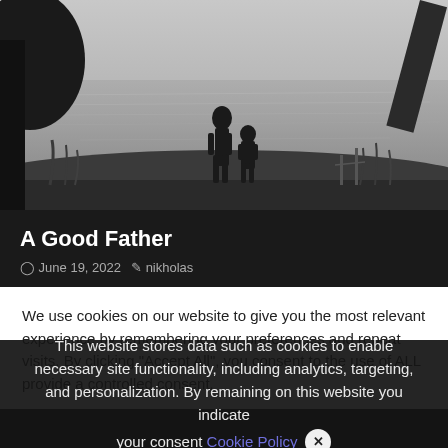[Figure (photo): Black and white silhouette photo of an adult and child standing by a lake or river, surrounded by trees and tall grass]
A Good Father
June 19, 2022  nikholas
We use cookies on our website to give you the most relevant experience by remembering your preferences and repeat visits. By clicking "Accept All", you consent to the use of ALL provide a controlled consent.
This website stores data such as cookies to enable necessary site functionality, including analytics, targeting, and personalization. By remaining on this website you indicate your consent Cookie Policy